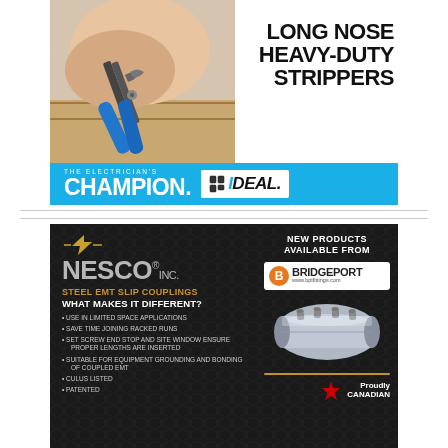[Figure (illustration): Advertisement for Ideal Industries Long Nose Heavy-Duty Strippers. Shows a hand holding blue-handled wire strippers/pliers against a light background. Text reads 'LONG NOSE HEAVY-DUTY STRIPPERS'. Blue bar at bottom reads 'THE ELECTRICIAN'S CHAMPION. IDEAL.']
[Figure (illustration): Advertisement for NESCO Inc. Steel EMT Slip Couplings on dark hexagon-pattern background. Left side shows NESCO logo with gold lightning bolt and feature bullets. Right side shows 'NEW PRODUCTS AVAILABLE FROM BRIDGEPORT www.bptfittings.com' and a photo of a steel EMT coupling. Bottom right shows 'Proudly CANADIAN' with maple leaf.]